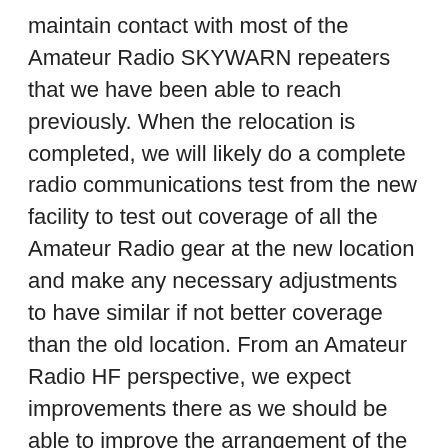maintain contact with most of the Amateur Radio SKYWARN repeaters that we have been able to reach previously. When the relocation is completed, we will likely do a complete radio communications test from the new facility to test out coverage of all the Amateur Radio gear at the new location and make any necessary adjustments to have similar if not better coverage than the old location. From an Amateur Radio HF perspective, we expect improvements there as we should be able to improve the arrangement of the Dipole antenna along with the fact it will be a new antenna and we will likely maintain the Vertical antenna that we had at our previous location. This HF vertical was taken down in October to be relocated and was not available for SKYWARN Recognition Day (SRD) 2017 activities.
We will update the relocation activities and send out the updated Public Information Statement as it